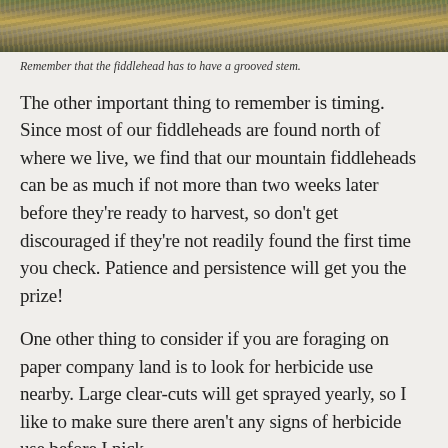[Figure (photo): Close-up photograph of fiddleheads or natural ground cover with dried grass and green mossy material]
Remember that the fiddlehead has to have a grooved stem.
The other important thing to remember is timing. Since most of our fiddleheads are found north of where we live, we find that our mountain fiddleheads can be as much if not more than two weeks later before they're ready to harvest, so don't get discouraged if they're not readily found the first time you check. Patience and persistence will get you the prize!
One other thing to consider if you are foraging on paper company land is to look for herbicide use nearby. Large clear-cuts will get sprayed yearly, so I like to make sure there aren't any signs of herbicide use before I pick.
How to Forage for...